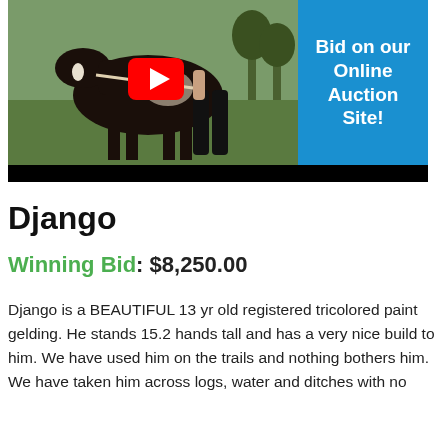[Figure (photo): Photo of a dark tricolored paint horse being led by a person in black pants, with a blue banner overlay reading 'Bid on our Online Auction Site!' and a YouTube play button icon. Black bar at bottom of image.]
Django
Winning Bid: $8,250.00
Django is a BEAUTIFUL 13 yr old registered tricolored paint gelding. He stands 15.2 hands tall and has a very nice build to him. We have used him on the trails and nothing bothers him. We have taken him across logs, water and ditches with no